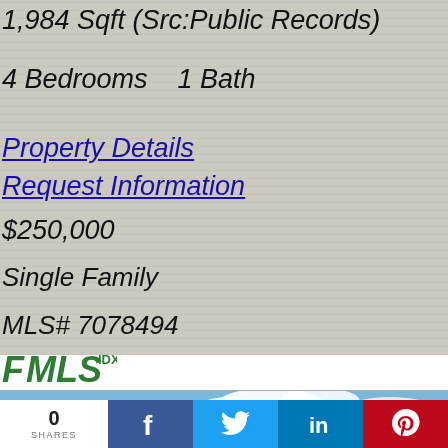1,984 Sqft (Src:Public Records)
4 Bedrooms   1 Bath
Property Details
Request Information
$250,000
Single Family
MLS# 7078494
[Figure (logo): FMLS IDX logo in green]
[Figure (photo): Outdoor photo showing green trees against a partly cloudy blue sky]
0
SHARES
[Figure (infographic): Social sharing bar with Facebook, Twitter, LinkedIn, and Pinterest buttons]